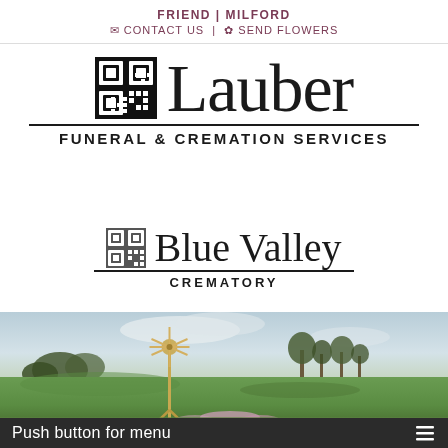FRIEND | MILFORD
✉ CONTACT US | ✿ SEND FLOWERS
Lauber FUNERAL & CREMATION SERVICES
Blue Valley CREMATORY
[Figure (photo): Rural Kansas landscape with a windmill in a green field, wildflowers in the foreground, trees in the background, cloudy sky]
Push button for menu